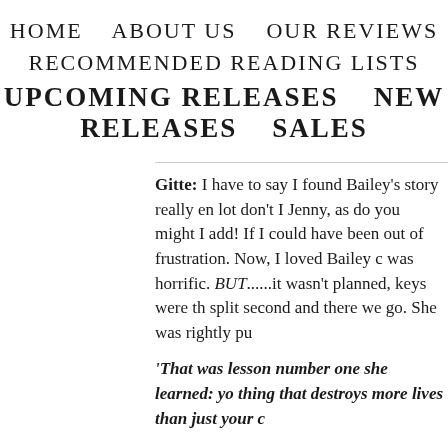HOME   ABOUT US   OUR REVIEWS
RECOMMENDED READING LISTS
UPCOMING RELEASES   NEW RELEASES   SALES
Gitte: I have to say I found Bailey's story really en lot don't I Jenny, as do you might I add! If I could have been out of frustration. Now, I loved Bailey c was horrific. BUT.....it wasn't planned, keys were th split second and there we go. She was rightly pu
'That was lesson number one she learned: yo thing that destroys more lives than just your c
At the end of the day and all things considered,